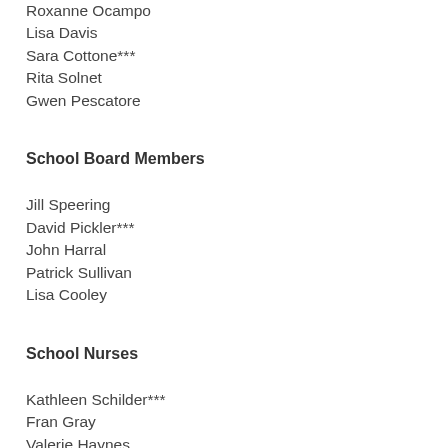Roxanne Ocampo
Lisa Davis
Sara Cottone***
Rita Solnet
Gwen Pescatore
School Board Members
Jill Speering
David Pickler***
John Harral
Patrick Sullivan
Lisa Cooley
School Nurses
Kathleen Schilder***
Fran Gray
Valerie Haynes
Julie Lindley
Sandra Nasr